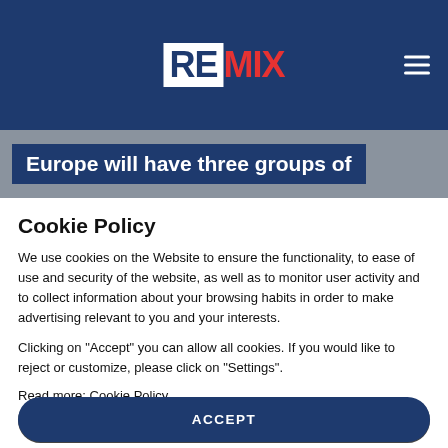REMIX
Europe will have three groups of
Cookie Policy
We use cookies on the Website to ensure the functionality, to ease of use and security of the website, as well as to monitor user activity and to collect information about your browsing habits in order to make advertising relevant to you and your interests.
Clicking on "Accept" you can allow all cookies. If you would like to reject or customize, please click on "Settings".
Read more: Cookie Policy
SETTINGS
ACCEPT